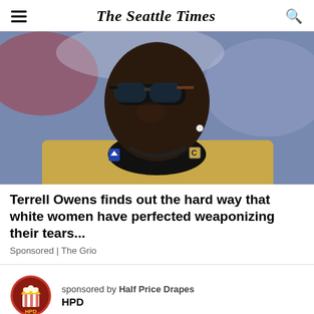The Seattle Times
[Figure (photo): Man wearing sunglasses and a gold blazer with pins, looking upward, against a blurred stadium background]
Terrell Owens finds out the hard way that white women have perfected weaponizing their tears...
Sponsored | The Grio
[Figure (logo): Half Price Drapes (HPD) logo — red and gold circular badge with popcorn imagery]
sponsored by Half Price Drapes
HPD